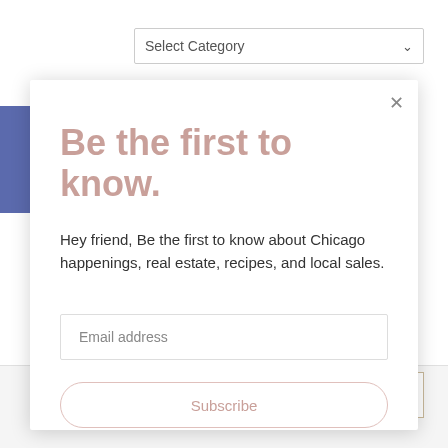[Figure (screenshot): Dropdown select box labeled 'Select Category' with chevron arrow]
Be the first to know.
Hey friend, Be the first to know about Chicago happenings, real estate, recipes, and local sales.
Email address
Subscribe
MENU